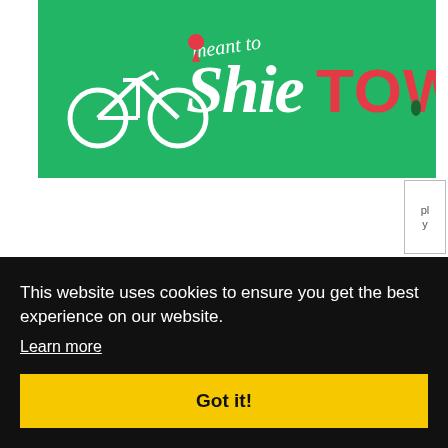[Figure (logo): Shie meant to TOWN logo with bicycle and map pin icon on green background]
Indochina Travel Destinations
August 7, 2013 at 1:59 PM
This website uses cookies to ensure you get the best experience on our website.
Learn more
Got it!
Travel Pilipinas